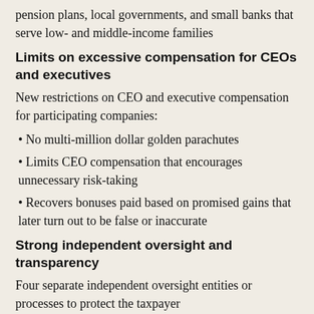pension plans, local governments, and small banks that serve low- and middle-income families
Limits on excessive compensation for CEOs and executives
New restrictions on CEO and executive compensation for participating companies:
No multi-million dollar golden parachutes
Limits CEO compensation that encourages unnecessary risk-taking
Recovers bonuses paid based on promised gains that later turn out to be false or inaccurate
Strong independent oversight and transparency
Four separate independent oversight entities or processes to protect the taxpayer
A strong oversight board appointed by bipartisan leaders of Congress
A GAO presence at Treasury to oversee the program and conduct audits to ensure strong internal controls, and to prevent